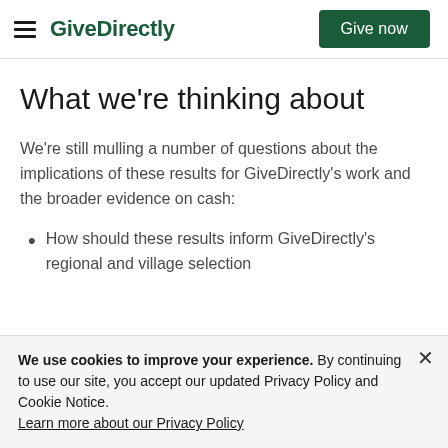GiveDirectly | Give now
What we're thinking about
We're still mulling a number of questions about the implications of these results for GiveDirectly's work and the broader evidence on cash:
How should these results inform GiveDirectly's regional and village selection
We use cookies to improve your experience. By continuing to use our site, you accept our updated Privacy Policy and Cookie Notice. Learn more about our Privacy Policy